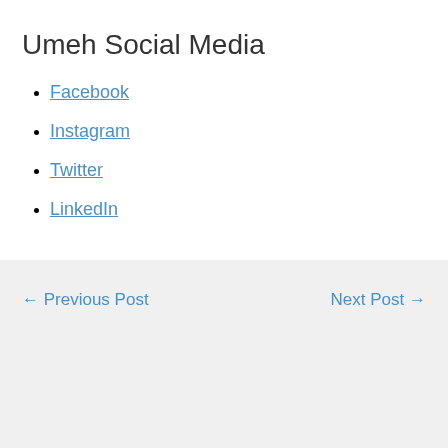Umeh Social Media
Facebook
Instagram
Twitter
LinkedIn
← Previous Post    Next Post →